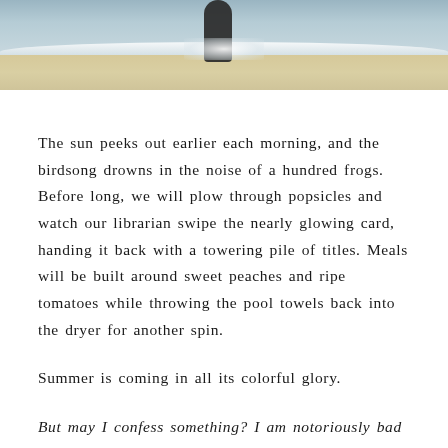[Figure (photo): Top portion of a beach photo showing ocean waves, sandy shore, and a dark-clad figure standing at the water's edge]
The sun peeks out earlier each morning, and the birdsong drowns in the noise of a hundred frogs. Before long, we will plow through popsicles and watch our librarian swipe the nearly glowing card, handing it back with a towering pile of titles. Meals will be built around sweet peaches and ripe tomatoes while throwing the pool towels back into the dryer for another spin.
Summer is coming in all its colorful glory.
But may I confess something? I am notoriously bad at summer.